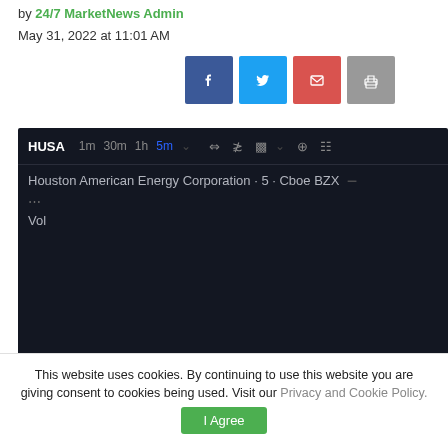by 24/7 MarketNews Admin
May 31, 2022 at 11:01 AM
[Figure (screenshot): Social sharing buttons: Facebook, Twitter, Email, Print]
[Figure (screenshot): TradingView chart widget for HUSA (Houston American Energy Corporation), 5m interval on Cboe BZX, dark theme, showing Vol label]
This website uses cookies. By continuing to use this website you are giving consent to cookies being used. Visit our Privacy and Cookie Policy.